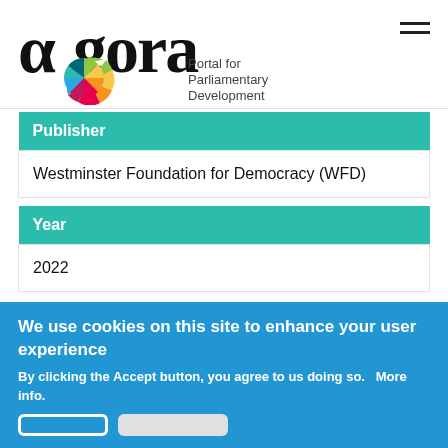[Figure (logo): Agora Portal for Parliamentary Development logo with colorful pinwheel graphic]
| Publisher |
| --- |
| Westminster Foundation for Democracy (WFD) |
| Year |
| --- |
| 2022 |
Back To Studies And Publications
We use cookies on this site to enhance your user experience
By clicking the Accept button, you agree to us doing so.   More info.